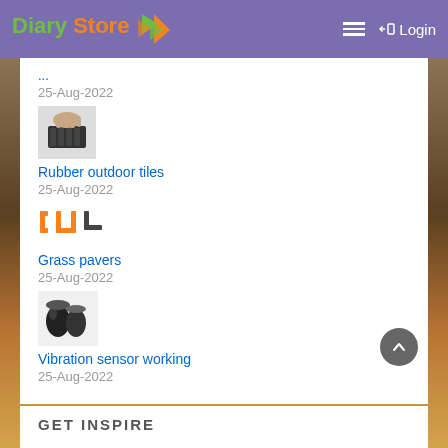Diary Store Login
25-Aug-2022
[Figure (photo): Photo of rubber outdoor tiles - black rubber mat being held]
Rubber outdoor tiles
25-Aug-2022
[Figure (logo): Grass pavers icon - orange and dark bracket shapes forming a paver pattern]
Grass pavers
25-Aug-2022
[Figure (photo): Photo of vibration sensor - dark cylindrical rolls/sensors]
Vibration sensor working
25-Aug-2022
GET INSPIRE